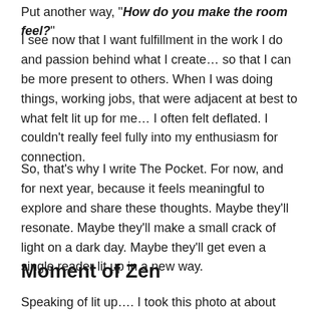Put another way, "How do you make the room feel?"
I see now that I want fulfillment in the work I do and passion behind what I create… so that I can be more present to others. When I was doing things, working jobs, that were adjacent at best to what felt lit up for me… I often felt deflated. I couldn't really feel fully into my enthusiasm for connection.
So, that's why I write The Pocket. For now, and for next year, because it feels meaningful to explore and share these thoughts. Maybe they'll resonate. Maybe they'll make a small crack of light on a dark day. Maybe they'll get even a single reader lit up in a new way.
Moment of Zen
Speaking of lit up…. I took this photo at about 11pm on